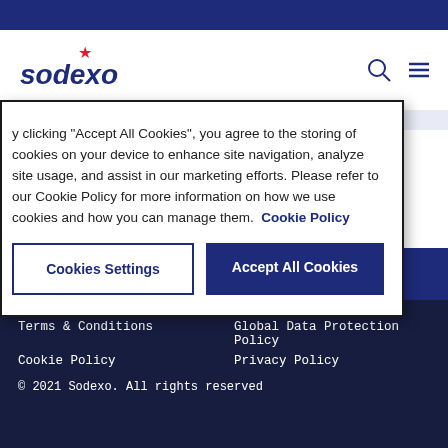[Figure (logo): Sodexo company logo with red star and navy blue text]
By clicking "Accept All Cookies", you agree to the storing of cookies on your device to enhance site navigation, analyze site usage, and assist in our marketing efforts. Please refer to our Cookie Policy for more information on how we use cookies and how you can manage them. Cookie Policy
Cookies Settings
Accept All Cookies
Terms & Conditions
Cookie Policy
Global Data Protection Policy
Privacy Policy
© 2021 Sodexo. All rights reserved